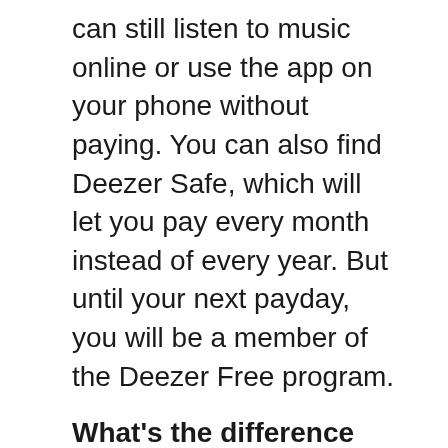can still listen to music online or use the app on your phone without paying. You can also find Deezer Safe, which will let you pay every month instead of every year. But until your next payday, you will be a member of the Deezer Free program.
What's the difference between Deezer Premium and Deezer HiFi?
Deezer HiFi gives you all the features of Deezer Premium. It also lets you listen to FLAC tracks without losing